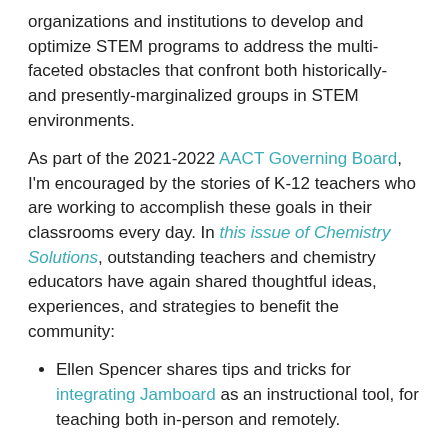organizations and institutions to develop and optimize STEM programs to address the multi-faceted obstacles that confront both historically- and presently-marginalized groups in STEM environments.
As part of the 2021-2022 AACT Governing Board, I'm encouraged by the stories of K-12 teachers who are working to accomplish these goals in their classrooms every day. In this issue of Chemistry Solutions, outstanding teachers and chemistry educators have again shared thoughtful ideas, experiences, and strategies to benefit the community:
Ellen Spencer shares tips and tricks for integrating Jamboard as an instructional tool, for teaching both in-person and remotely.
The president of the Science History Museum, David Allen Cole, encourages teachers to incorporate historical material into their lesson plans, and shares about a new artifact- and image-driven story available from the